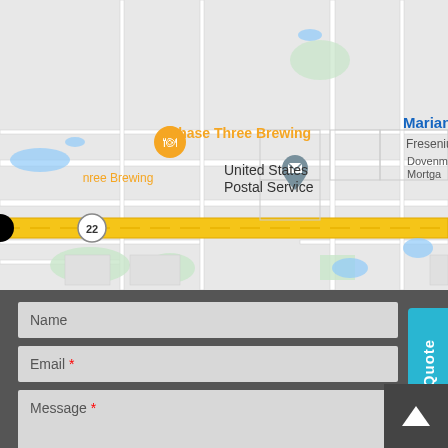[Figure (map): Google Maps screenshot showing Forest Lake area with markers for Phase Three Brewing (orange), Jen Top Inc (pink/red), United States Postal Service (gray), Mariano's (blue shopping cart icon), Fresenius, Dovenm Mortgage labels. Route 22 highway shown as yellow road running horizontally. N Quentin Rd runs vertically.]
Name
Email *
Message *
Request a Quote